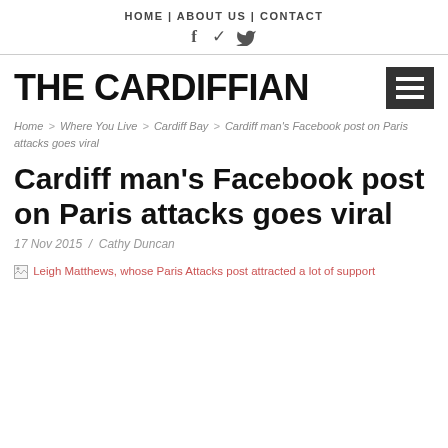HOME | ABOUT US | CONTACT
[Figure (logo): The Cardiffian site logo text with hamburger menu icon]
Home > Where You Live > Cardiff Bay > Cardiff man's Facebook post on Paris attacks goes viral
Cardiff man's Facebook post on Paris attacks goes viral
17 Nov 2015 / Cathy Duncan
[Figure (photo): Leigh Matthews, whose Paris Attacks post attracted a lot of support]